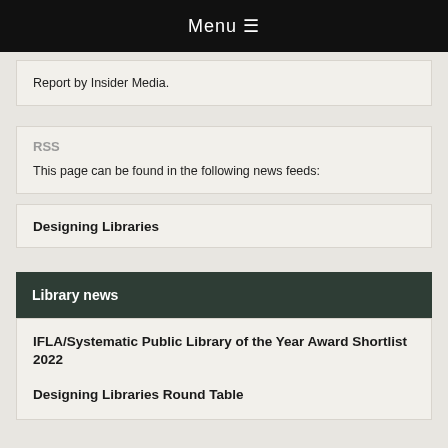Menu ☰
Report by Insider Media.
RSS
This page can be found in the following news feeds:
Designing Libraries
Library news
IFLA/Systematic Public Library of the Year Award Shortlist 2022
Designing Libraries Round Table